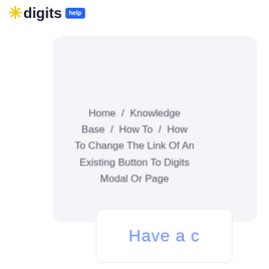* digits help
Home / Knowledge Base / How To / How To Change The Link Of An Existing Button To Digits Modal Or Page
Have a c